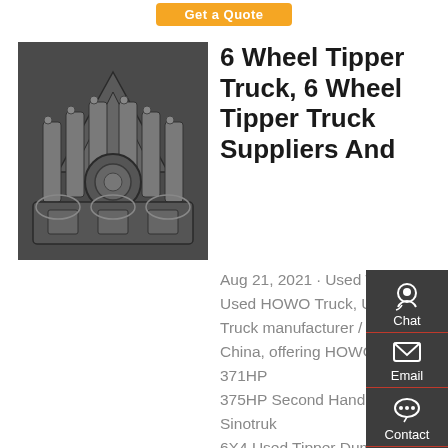[Figure (other): Orange 'Get a Quote' button at top of page]
[Figure (photo): Close-up photo of a truck engine/transmission mechanical components, metallic silver color]
6 Wheel Tipper Truck, 6 Wheel Tipper Truck Suppliers And
Aug 21, 2021 · Used Trucks, Used HOWO Truck, Used Dump Truck manufacturer / supplier in China, offering HOWO 371HP 375HP Second Hand Sinotruk 6X4 Used Tipper Dump Truck for Africa Market, 3 Axle Low Bed 100ton Lowbed Gooseneck Rear Semi Trailer Truck Sale, 3 Axle
[Figure (infographic): Sidebar with Chat, Email, Contact, and Top navigation icons on dark background]